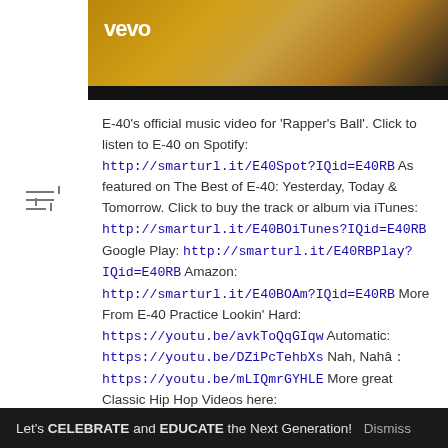[Figure (screenshot): Vevo music video thumbnail showing a person in gold/yellow tones with the Vevo logo in white at top left, and a black bar at the bottom.]
E-40's official music video for 'Rapper's Ball'. Click to listen to E-40 on Spotify: http://smarturl.it/E40Spot?IQid=E40RB As featured on The Best of E-40: Yesterday, Today & Tomorrow. Click to buy the track or album via iTunes: http://smarturl.it/E40BOiTunes?IQid=E40RB Google Play: http://smarturl.it/E40RBPlay?IQid=E40RB Amazon: http://smarturl.it/E40BOAm?IQid=E40RB More From E-40 Practice Lookin' Hard: https://youtu.be/avkToQqGIqw Automatic: https://youtu.be/DZiPcTehbXs Nah, Nahâ₂:https://youtu.be/mLIQmrGYHLE More great Classic Hip Hop Videos here: http://smarturl.it/CHHPlaylist?IQid=E40RB Follow E-40 Facebook: https://www.facebook.com/e40 Twitter: https://twitter.com/e40 Instagram: https://instagram.com/e40/?hl=en Myspace:
Let's CELEBRATE and EDUCATE the Next Generation! Dismiss